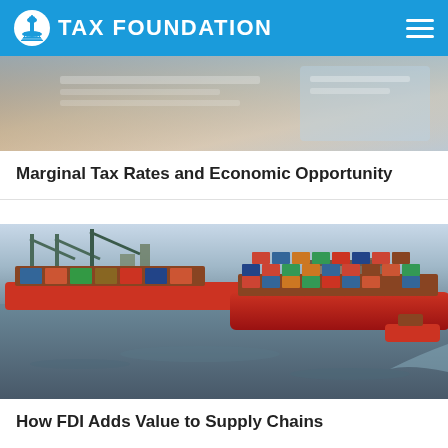TAX FOUNDATION
[Figure (photo): Partial view of workspace or document, cropped photo at top of card]
Marginal Tax Rates and Economic Opportunity
[Figure (photo): Aerial view of a shipping port with large cargo container ships on water, cranes visible in background]
How FDI Adds Value to Supply Chains